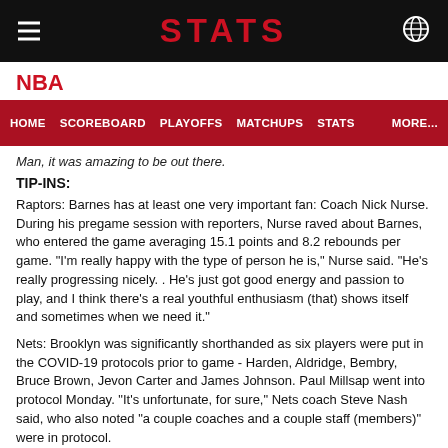STATS
NBA
HOME  SCOREBOARD  PLAYOFFS  MATCHUPS  STATS  MORE...
Man, it was amazing to be out there.
TIP-INS:
Raptors: Barnes has at least one very important fan: Coach Nick Nurse. During his pregame session with reporters, Nurse raved about Barnes, who entered the game averaging 15.1 points and 8.2 rebounds per game. "I'm really happy with the type of person he is," Nurse said. "He's really progressing nicely. . He's just got good energy and passion to play, and I think there's a real youthful enthusiasm (that) shows itself and sometimes when we need it."
Nets: Brooklyn was significantly shorthanded as six players were put in the COVID-19 protocols prior to game - Harden, Aldridge, Bembry, Bruce Brown, Jevon Carter and James Johnson. Paul Millsap went into protocol Monday. "It's unfortunate, for sure," Nets coach Steve Nash said, who also noted "a couple coaches and a couple staff (members)" were in protocol.
UP NEXT